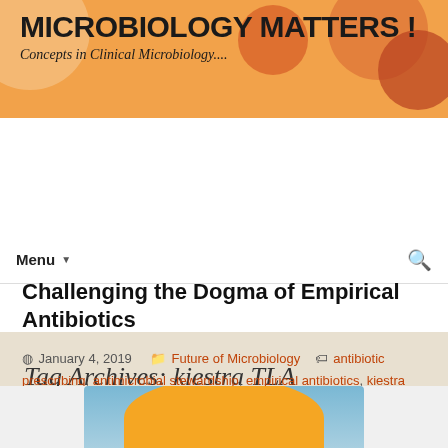MICROBIOLOGY MATTERS ! Concepts in Clinical Microbiology....
Menu ▼
Tag Archives: kiestra TLA
Challenging the Dogma of Empirical Antibiotics
January 4, 2019   Future of Microbiology   antibiotic prescribing, antimicrobial stewardship, empirical antibiotics, kiestra TLA   michael
[Figure (photo): Partial image of hands visible at the bottom of the page, appearing to hold something, with a light blue background.]